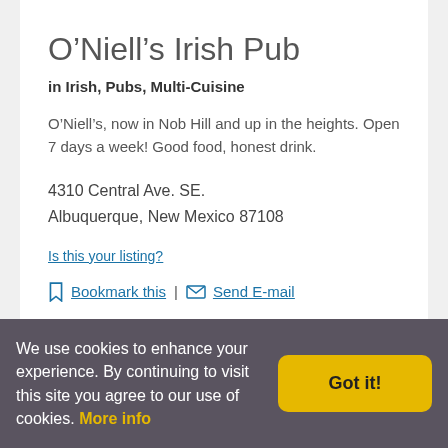O’Niell’s Irish Pub
in Irish, Pubs, Multi-Cuisine
O’Niell’s, now in Nob Hill and up in the heights. Open 7 days a week! Good food, honest drink.
4310 Central Ave. SE.
Albuquerque, New Mexico 87108
Is this your listing?
Bookmark this  |  Send E-mail
505-977-1836
Visit Website
[Figure (other): Three dark blue social media icon circles (Facebook, Twitter, another)]
We use cookies to enhance your experience. By continuing to visit this site you agree to our use of cookies. More info